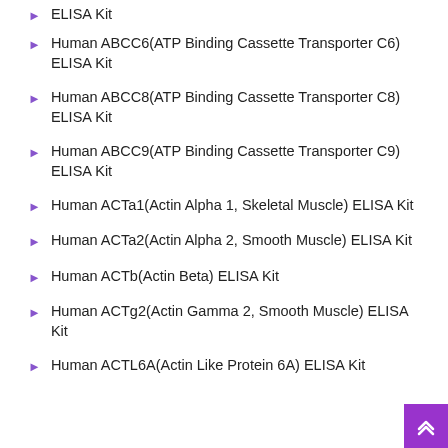ELISA Kit
Human ABCC6(ATP Binding Cassette Transporter C6) ELISA Kit
Human ABCC8(ATP Binding Cassette Transporter C8) ELISA Kit
Human ABCC9(ATP Binding Cassette Transporter C9) ELISA Kit
Human ACTa1(Actin Alpha 1, Skeletal Muscle) ELISA Kit
Human ACTa2(Actin Alpha 2, Smooth Muscle) ELISA Kit
Human ACTb(Actin Beta) ELISA Kit
Human ACTg2(Actin Gamma 2, Smooth Muscle) ELISA Kit
Human ACTL6A(Actin Like Protein 6A) ELISA Kit